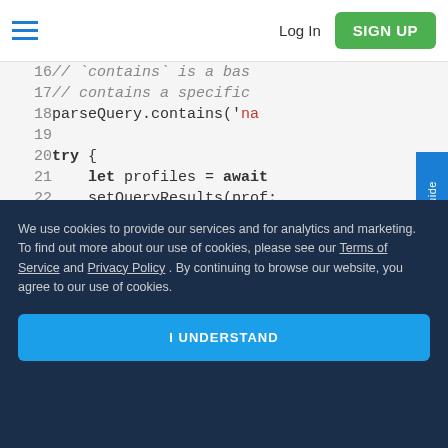Log In | SIGN UP
[Figure (screenshot): Code editor screenshot showing JavaScript lines 16-26 with syntax highlighting. Line 16-17: comments about 'contains'. Line 18: parseQuery.contains('na... Line 19: blank. Line 20: try {. Line 21: let profiles = await. Line 22: setQueryResults(prof:. Line 23: return true;. Line 24: } catch (error) {. Line 25: // Error can be cause. Line 26: alert(`Error! ${error.]
We use cookies to provide our services and for analytics and marketing. To find out more about our use of cookies, please see our Terms of Service and Privacy Policy. By continuing to browse our website, you agree to our use of cookies.
I UNDERSTAND